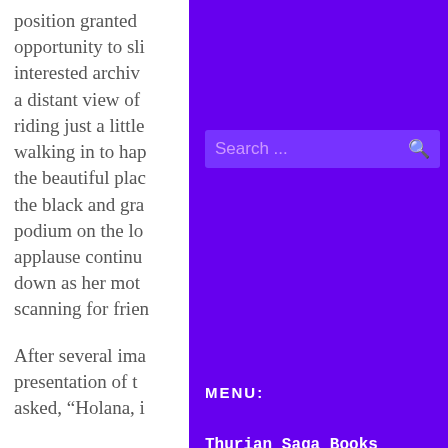position granted opportunity to sli interested archiv a distant view of riding just a little walking in to hap the beautiful pla the black and gr podium on the lo applause continu down as her mot scanning for frie
After several ima presentation of t asked, "Holana, i
Search ...
MENU:
Thurian Saga Books
The Author
FAQ
My Blog
More Stories!